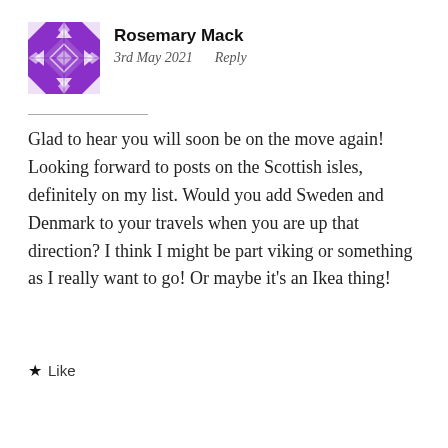[Figure (illustration): Purple geometric/quilt pattern avatar icon for user Rosemary Mack]
Rosemary Mack
3rd May 2021   Reply
Glad to hear you will soon be on the move again! Looking forward to posts on the Scottish isles, definitely on my list. Would you add Sweden and Denmark to your travels when you are up that direction? I think I might be part viking or something as I really want to go! Or maybe it’s an Ikea thing!
★ Like